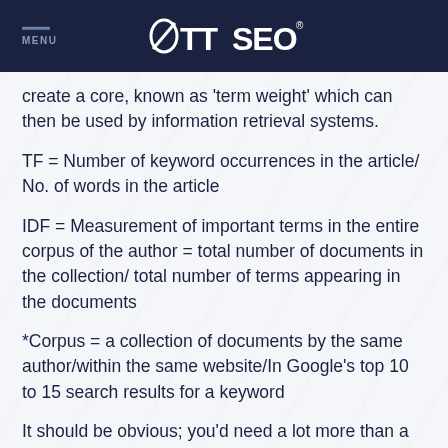MENU | ØTTSEO
create a core, known as 'term weight' which can then be used by information retrieval systems.
TF = Number of keyword occurrences in the article/ No. of words in the article
IDF = Measurement of important terms in the entire corpus of the author = total number of documents in the collection/ total number of terms appearing in the documents
*Corpus = a collection of documents by the same author/within the same website/In Google's top 10 to 15 search results for a keyword
It should be obvious; you'd need a lot more than a calculator